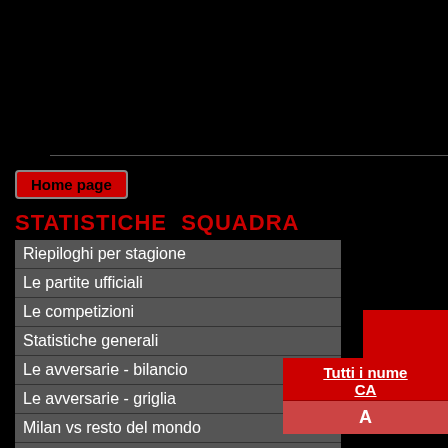Home page
STATISTICHE  SQUADRA
Riepiloghi per stagione
Le partite ufficiali
Le competizioni
Statistiche generali
Le avversarie - bilancio
Le avversarie - griglia
Milan vs resto del mondo
Il Milan e gli stadi
I giorni del Milan
I minuti del Milan
Tutti i nume CA A